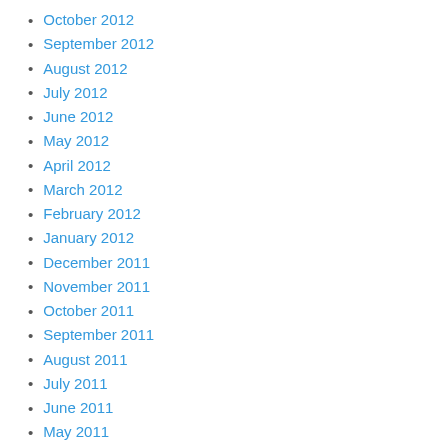October 2012
September 2012
August 2012
July 2012
June 2012
May 2012
April 2012
March 2012
February 2012
January 2012
December 2011
November 2011
October 2011
September 2011
August 2011
July 2011
June 2011
May 2011
April 2011
March 2011
February 2011